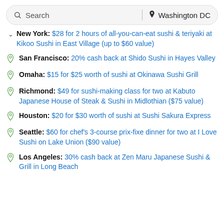Search | Washington DC
New York: $28 for 2 hours of all-you-can-eat sushi & teriyaki at Kikoo Sushi in East Village (up to $60 value)
San Francisco: 20% cash back at Shido Sushi in Hayes Valley
Omaha: $15 for $25 worth of sushi at Okinawa Sushi Grill
Richmond: $49 for sushi-making class for two at Kabuto Japanese House of Steak & Sushi in Midlothian ($75 value)
Houston: $20 for $30 worth of sushi at Sushi Sakura Express
Seattle: $60 for chef's 3-course prix-fixe dinner for two at I Love Sushi on Lake Union ($90 value)
Los Angeles: 30% cash back at Zen Maru Japanese Sushi & Grill in Long Beach